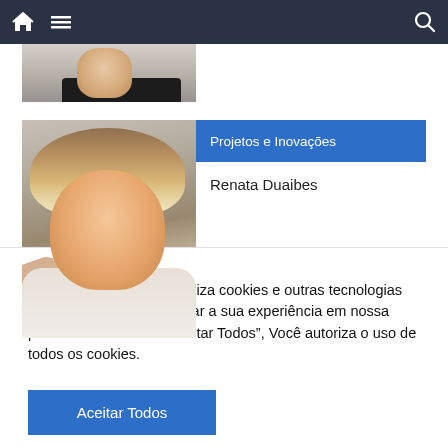Navigation bar with home icon, hamburger menu, and search icon
[Figure (photo): Partial photo of a person in white clothing with dark suit visible at bottom, cropped at top]
[Figure (photo): Photo of Renata Duaibes, a woman with blonde highlighted hair, next to a card with category Projetos e Inovações and name Renata Duaibes]
Projetos e Inovações
Renata Duaibes
[Figure (photo): Partial strip image with colorful background and blue section]
O Jornal de Guarulhos utiliza cookies e outras tecnologias semelhantes para melhorar a sua experiência em nossa plataforma. Ao clicar "Aceitar Todos", Você autoriza o uso de todos os cookies.
Aceitar Todos